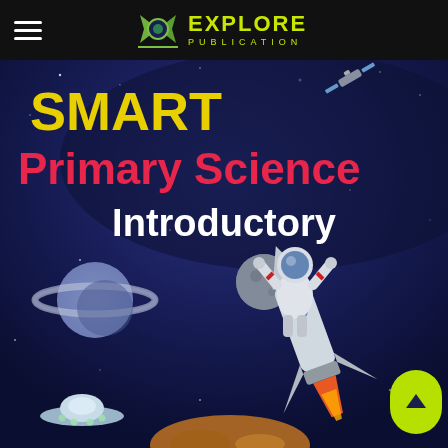EXPLORE PUBLICATION
[Figure (illustration): Book cover for SMART Primary Science Introductory published by Explore Publication. Dark navy/space background with illustrated astronaut riding a rocket/space shuttle, Saturn-like planet, moon, UFO, and other space elements. Text overlay shows 'SMART' in yellow, 'Primary Science' in red, and 'Introductory' in white.]
SMART Primary Science Introductory